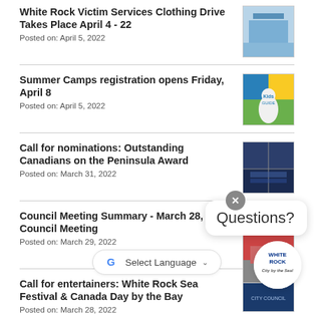White Rock Victim Services Clothing Drive Takes Place April 4 - 22
Posted on: April 5, 2022
Summer Camps registration opens Friday, April 8
Posted on: April 5, 2022
Call for nominations: Outstanding Canadians on the Peninsula Award
Posted on: March 31, 2022
Council Meeting Summary - March 28, 2022 Council Meeting
Posted on: March 29, 2022
Call for entertainers: White Rock Sea Festival & Canada Day by the Bay
Posted on: March 28, 2022
Interested in what is happening in your City? Attend our Council Meeting on